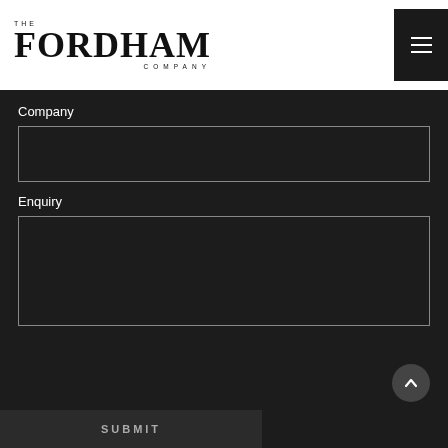[Figure (logo): The Fordham Company logo in black serif text with 'THE' above 'FORDHAM' and 'COMPANY' below]
Company
Enquiry
SUBMIT